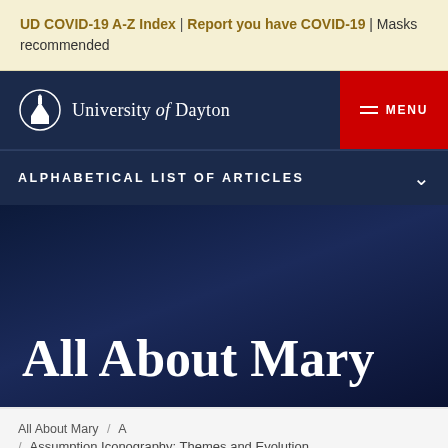UD COVID-19 A-Z Index | Report you have COVID-19 | Masks recommended
University of Dayton — MENU
ALPHABETICAL LIST OF ARTICLES
All About Mary
All About Mary / A / Assumption Iconography: Themes and Evolution